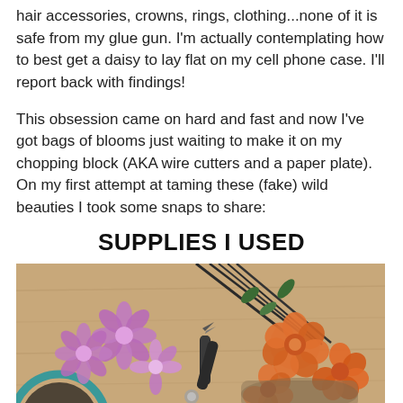hair accessories, crowns, rings, clothing...none of it is safe from my glue gun. I'm actually contemplating how to best get a daisy to lay flat on my cell phone case. I'll report back with findings!
This obsession came on hard and fast and now I've got bags of blooms just waiting to make it on my chopping block (AKA wire cutters and a paper plate). On my first attempt at taming these (fake) wild beauties I took some snaps to share:
SUPPLIES I USED
[Figure (photo): Photo of crafting supplies on a wooden floor: purple silk flowers, orange silk roses, wire stems, wire cutters/pliers, and a partial view of a teal-edged circular item in the lower left corner.]